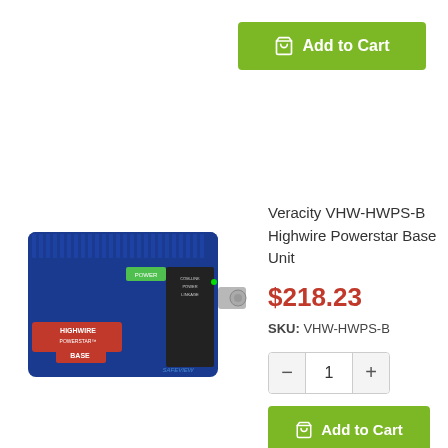[Figure (other): Green 'Add to Cart' button with shopping bag icon at top of page (partial previous product card)]
[Figure (other): Filter/settings icon in a bordered box on the left side]
[Figure (photo): Photo of Veracity VHW-HWPS-B Highwire Powerstar Base Unit - a blue electronic device with BNC connector]
Veracity VHW-HWPS-B Highwire Powerstar Base Unit
$218.23
SKU: VHW-HWPS-B
[Figure (other): Quantity selector showing minus button, 1, plus button]
[Figure (other): Green 'Add to Cart' button with shopping bag icon]